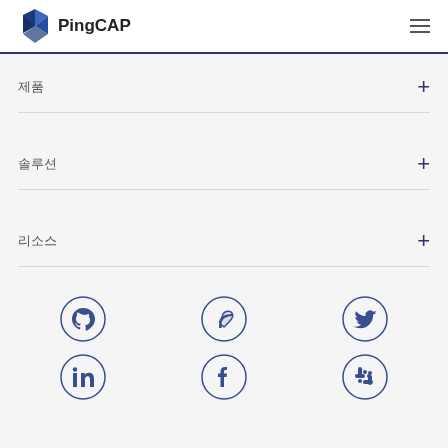[Figure (logo): PingCAP logo with blue geometric diamond shape and text 'PingCAP']
제품 +
솔루션 +
리소스 +
[Figure (infographic): Social media icons in circles: GitHub, Podcast/Feedly, Twitter (top row), LinkedIn, Facebook, Slack (bottom row)]